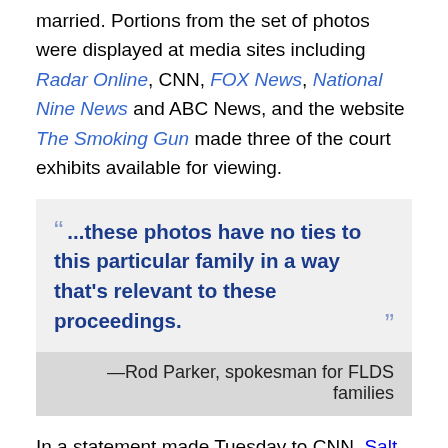married. Portions from the set of photos were displayed at media sites including Radar Online, CNN, FOX News, National Nine News and ABC News, and the website The Smoking Gun made three of the court exhibits available for viewing.
"...these photos have no ties to this particular family in a way that's relevant to these proceedings."
—Rod Parker, spokesman for FLDS families
In a statement made Tuesday to CNN, Salt Lake City, Utah attorney and spokesman for FLDS families Rod Parker said the photos were an effort by Child Protective Services to "get publicity" and "paint everybody with the same brush". "What I'm saying is, that isn't fair, and each parent of each family is entitled to stand on its own. And these photos have no ties to this particular family in a way